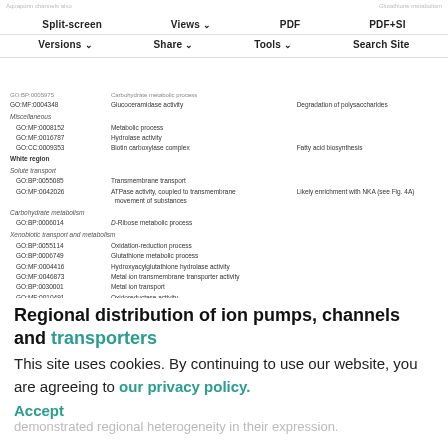Split-screen | Views | PDF | PDF+SI | Versions | Share | Tools | Search Site
| GO Term | Description | Notes |
| --- | --- | --- |
| GO:BP:0005975 | Carbohydrate metabolic process |  |
| GO:MF:0004348 | Glucoceramidase activity | Degradation of polysaccharides |
| Miscellaneous |  |  |
| GO:MF:0008152 | Metabolic process |  |
| GO:MF:0016787 | Hydrolase activity |  |
| GO:CC:0009353 | Biotin carboxylase complex | Fatty acid biosynthesis |
| White region |  |  |
| Solute transport |  |  |
| GO:BP:0055085 | Transmembrane transport |  |
| GO:MF:0042026 | ATPase activity, coupled to transmembrane movement of substances | Likely enrichment with NKA (see Fig. 4A) |
| Carbohydrate metabolism |  |  |
| GO:BP:0006014 | D-Ribose metabolic process |  |
| Xenobiotic transport and metabolism |  |  |
| GO:BP:0055114 | Oxidation-reduction process |  |
| GO:BP:0006749 | Glutathione metabolic process |  |
| GO:MF:0004416 | Hydroxyacylglutathione hydrolase activity |  |
| GO:MF:0046873 | Metal ion transmembrane transporter activity |  |
| GO:BP:0030001 | Metal ion transport |  |
| GO:MF:0010491 | Oxidoreductase activity |  |
| GO:MF:0004791 | Thioredoxin-disulfide reductase activity | Defence against oxidative damage |
| Miscellaneous |  |  |
| GO:MF:0004747 | Ribonuclease activity | Nucleotide biosynthesis |
| GO:CC:0016020 | Membrane |  |
| GO:BP:0008152 | Metabolic process |  |
Raw GOSEQ results can be found in Table S4. CC, cell component; BP, biological process; MF, molecular function.
Regional distribution of ion pumps, channels and transporters
This site uses cookies. By continuing to use our website, you are agreeing to our privacy policy. Accept
demonstrated regional heterogeneity in their expression.